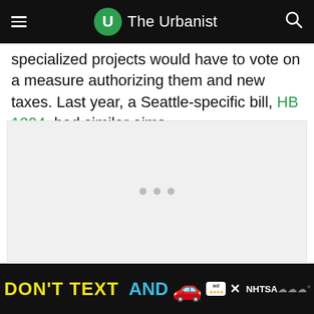The Urbanist
specialized projects would have to vote on a measure authorizing them and new taxes. Last year, a Seattle-specific bill, HB 1304, had similar aims.
[Figure (other): Gray placeholder image area with three dots, indicating a loading or embedded content block]
DON'T TEXT AND [car emoji] ad NHTSA